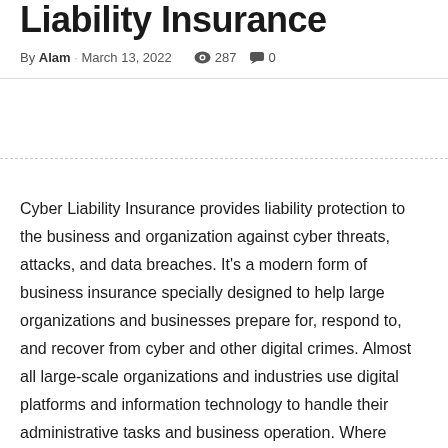Liability Insurance
By Alam · March 13, 2022   287   0
Cyber Liability Insurance provides liability protection to the business and organization against cyber threats, attacks, and data breaches. It's a modern form of business insurance specially designed to help large organizations and businesses prepare for, respond to, and recover from cyber and other digital crimes. Almost all large-scale organizations and industries use digital platforms and information technology to handle their administrative tasks and business operation. Where informational technology and digitalization have made business handling